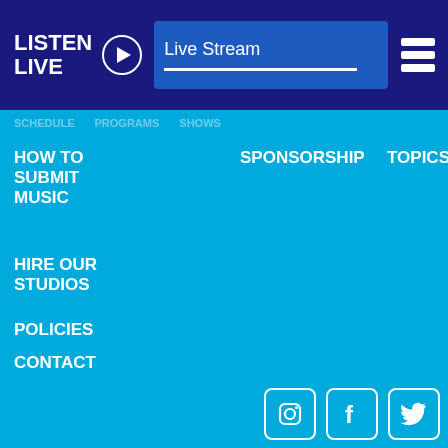LISTEN LIVE — Live Stream
HOW TO SUBMIT MUSIC
HIRE OUR STUDIOS
POLICIES
CONTACT
SPONSORSHIP
TOPICS
[Figure (logo): UTS University of Technology Sydney logo]
[Figure (logo): Macquarie University logo]
Audio hosting by MyRadio.Click